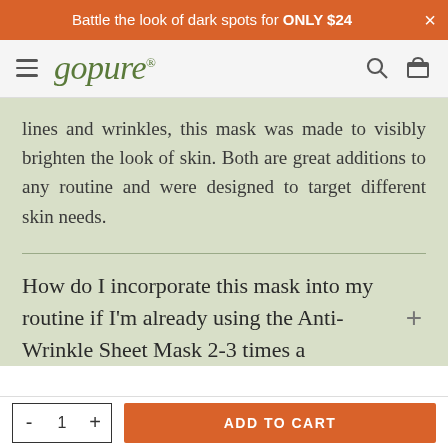Battle the look of dark spots for ONLY $24
[Figure (logo): goPure logo with hamburger menu, search icon, and cart icon navigation bar]
lines and wrinkles, this mask was made to visibly brighten the look of skin. Both are great additions to any routine and were designed to target different skin needs.
How do I incorporate this mask into my routine if I'm already using the Anti-Wrinkle Sheet Mask 2-3 times a